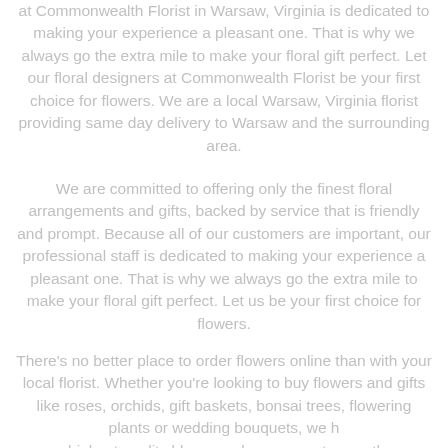at Commonwealth Florist in Warsaw, Virginia is dedicated to making your experience a pleasant one. That is why we always go the extra mile to make your floral gift perfect. Let our floral designers at Commonwealth Florist be your first choice for flowers. We are a local Warsaw, Virginia florist providing same day delivery to Warsaw and the surrounding area.
We are committed to offering only the finest floral arrangements and gifts, backed by service that is friendly and prompt. Because all of our customers are important, our professional staff is dedicated to making your experience a pleasant one. That is why we always go the extra mile to make your floral gift perfect. Let us be your first choice for flowers.
There's no better place to order flowers online than with your local florist. Whether you're looking to buy flowers and gifts like roses, orchids, gift baskets, bonsai trees, flowering plants or wedding bouquets, we h highest quality blooms who can create exactl